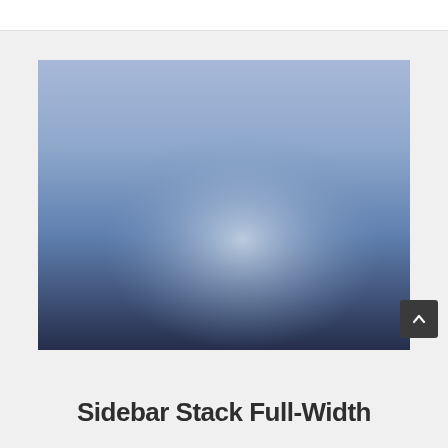[Figure (photo): A blurred landscape photo with a gradient sky fading from light blue-grey at the top to dark navy blue at the bottom, with a soft whitish glow in the center.]
[Figure (other): A small dark rounded square button with an upward-pointing chevron/caret arrow icon, used as a scroll-to-top button.]
Sidebar Stack Full-Width